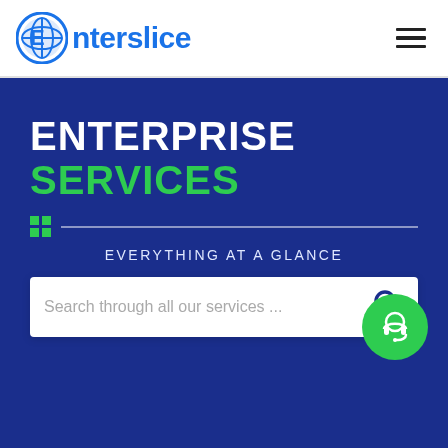[Figure (logo): Enterslice logo with circular blue icon and blue text]
ENTERPRISE SERVICES
EVERYTHING AT A GLANCE
[Figure (screenshot): Search box with placeholder text 'Search through all our services ...' and a search icon]
[Figure (illustration): Green circular chat/headset support button at bottom right]